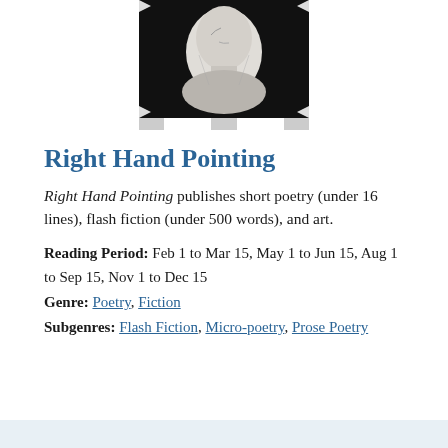[Figure (illustration): A grayscale illustration/logo of a classical bust or head in profile, pointing, with a black background, framed in a rectangular border with decorative corners.]
Right Hand Pointing
Right Hand Pointing publishes short poetry (under 16 lines), flash fiction (under 500 words), and art.
Reading Period:  Feb 1 to Mar 15, May 1 to Jun 15, Aug 1 to Sep 15, Nov 1 to Dec 15
Genre:  Poetry, Fiction
Subgenres:  Flash Fiction, Micro-poetry, Prose Poetry